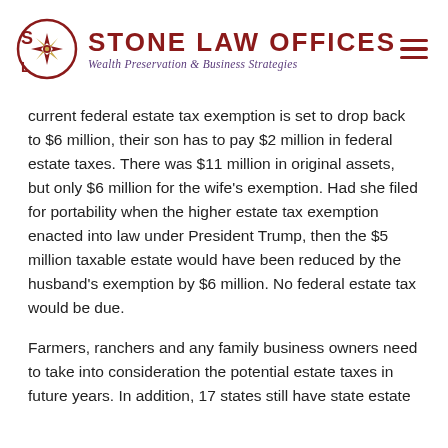Stone Law Offices — Wealth Preservation & Business Strategies
current federal estate tax exemption is set to drop back to $6 million, their son has to pay $2 million in federal estate taxes. There was $11 million in original assets, but only $6 million for the wife's exemption. Had she filed for portability when the higher estate tax exemption enacted into law under President Trump, then the $5 million taxable estate would have been reduced by the husband's exemption by $6 million. No federal estate tax would be due.
Farmers, ranchers and any family business owners need to take into consideration the potential estate taxes in future years. In addition, 17 states still have state estate